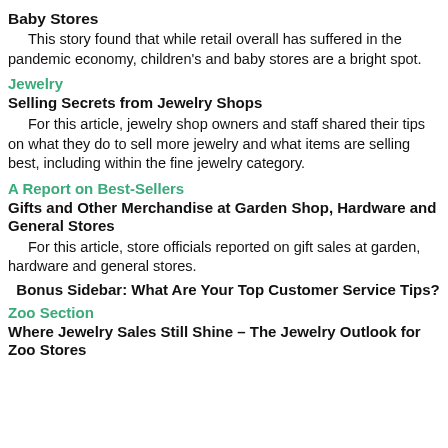Baby Stores
This story found that while retail overall has suffered in the pandemic economy, children's and baby stores are a bright spot.
Jewelry
Selling Secrets from Jewelry Shops
For this article, jewelry shop owners and staff shared their tips on what they do to sell more jewelry and what items are selling best, including within the fine jewelry category.
A Report on Best-Sellers
Gifts and Other Merchandise at Garden Shop, Hardware and General Stores
For this article, store officials reported on gift sales at garden, hardware and general stores.
Bonus Sidebar: What Are Your Top Customer Service Tips?
Zoo Section
Where Jewelry Sales Still Shine – The Jewelry Outlook for Zoo Stores